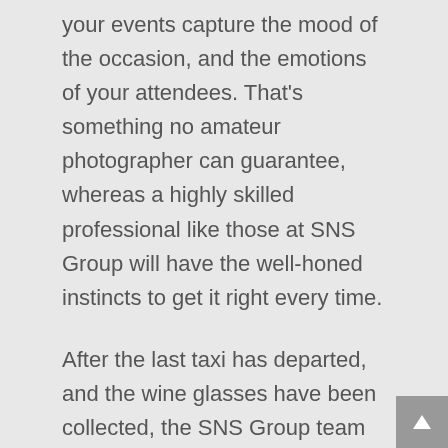your events capture the mood of the occasion, and the emotions of your attendees. That's something no amateur photographer can guarantee, whereas a highly skilled professional like those at SNS Group will have the well-honed instincts to get it right every time.
After the last taxi has departed, and the wine glasses have been collected, the SNS Group team will continue working to make sure every photo looks stunning. Our expert editors can use modern techniques to turn an already great image into something truly extraordinary. These photos will show off your event perfectly – they could even become a cornerstone of your organisation's